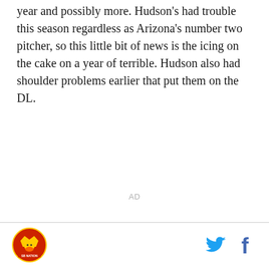year and possibly more. Hudson's had trouble this season regardless as Arizona's number two pitcher, so this little bit of news is the icing on the cake on a year of terrible. Hudson also had shoulder problems earlier that put them on the DL.
AD
[Figure (logo): SB Nation logo - circular badge with crown and text]
[Figure (other): Twitter bird icon in cyan blue]
[Figure (other): Facebook f icon in dark blue]